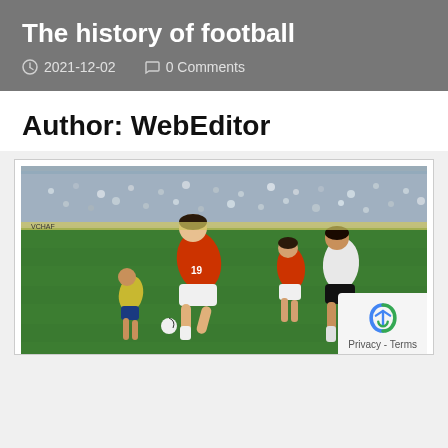The history of football
2021-12-02   0 Comments
Author: WebEditor
[Figure (photo): Vintage football match photo showing players in orange (Netherlands) and white/blue (Argentina) jerseys in action on a football pitch with a crowd in the background.]